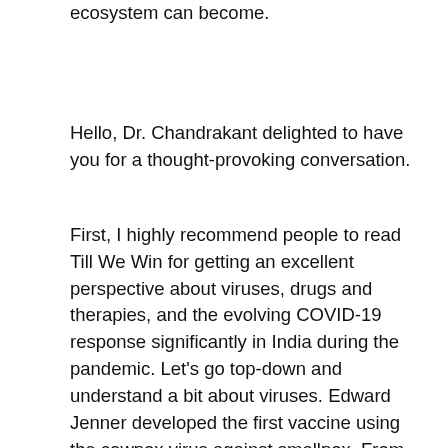ecosystem can become.
Hello, Dr. Chandrakant delighted to have you for a thought-provoking conversation.
First, I highly recommend people to read Till We Win for getting an excellent perspective about viruses, drugs and therapies, and the evolving COVID-19 response significantly in India during the pandemic. Let’s go top-down and understand a bit about viruses. Edward Jenner developed the first vaccine using the cowpox virus against smallpox. From Black Plague to the Spanish Flu to the COVID-19, humans have been ravaged by pandemics for a long time. Till We Win shares a vivid